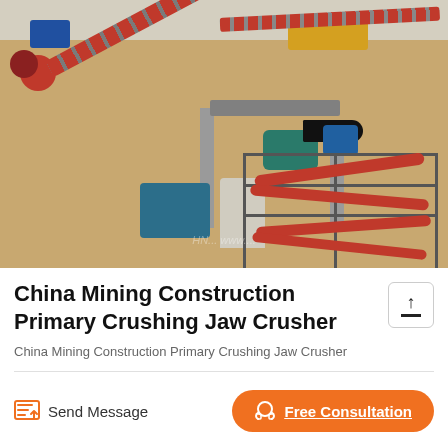[Figure (photo): Aerial view of a mining construction site with conveyor belts, jaw crusher machinery, steel frames, and industrial equipment on an earthen ground.]
China Mining Construction Primary Crushing Jaw Crusher
China Mining Construction Primary Crushing Jaw Crusher
Send Message
Free Consultation